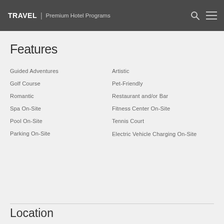TRAVEL | Premium Hotel Programs
Features
Guided Adventures
Artistic
Golf Course
Pet-Friendly
Romantic
Restaurant and/or Bar
Spa On-Site
Fitness Center On-Site
Pool On-Site
Tennis Court
Parking On-Site
Electric Vehicle Charging On-Site
Location